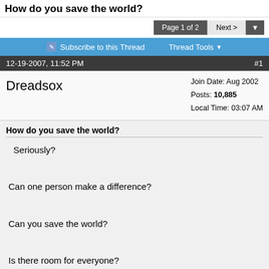How do you save the world?
Page 1 of 2  Next >
Subscribe to this Thread  Thread Tools
12-19-2007, 11:52 PM  #1
Dreadsox
Join Date: Aug 2002
Posts: 10,885
Local Time: 03:07 AM
How do you save the world?

Seriously?

Can one person make a difference?

Can you save the world?

Is there room for everyone?

Thoughts?